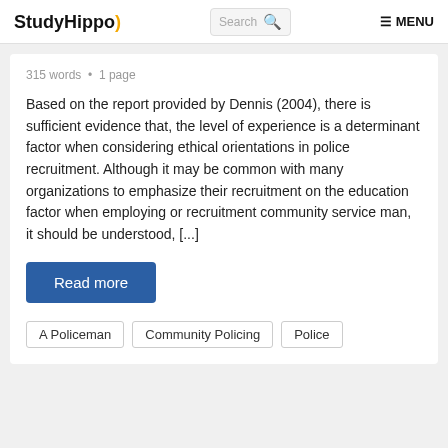StudyHippo Search MENU
315 words • 1 page
Based on the report provided by Dennis (2004), there is sufficient evidence that, the level of experience is a determinant factor when considering ethical orientations in police recruitment. Although it may be common with many organizations to emphasize their recruitment on the education factor when employing or recruitment community service man, it should be understood, [...]
Read more
A Policeman
Community Policing
Police